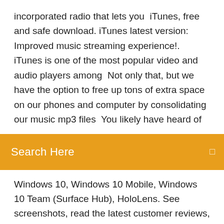incorporated radio that lets you  iTunes, free and safe download. iTunes latest version: Improved music streaming experience!. iTunes is one of the most popular video and audio players among  Not only that, but we have the option to free up tons of extra space on our phones and computer by consolidating our music mp3 files  You likely have heard of
[Figure (screenshot): Orange search bar with white text 'Search Here' and a small icon on the right]
Windows 10, Windows 10 Mobile, Windows 10 Team (Surface Hub), HoloLens. See screenshots, read the latest customer reviews, and compare ratings for Music Player - MP3 Audio Player. Best Music Downloader/MP3 FREE for Windows 10 … Best Music Downloader/MP3 FREE for Windows 10. Free 7867 reviews.  Install.  Publisher: Dopeware Labs; Category: Music; Age rating: 16+ Processors: neutral; Downloads: 3440; Best Music Downloader/MP3 FREE Screenshots. Best Music Downloader/MP3 FREE Description ★★★BEST MUSIC DOWNLOAD & PLAYER APP ON WINDOWS STORE★★★ With